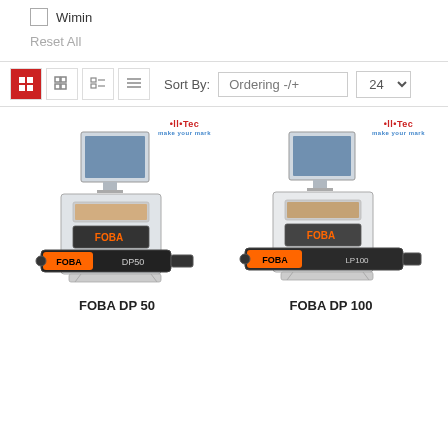Wimin
Reset All
Sort By: Ordering -/+  24
[Figure (photo): FOBA DP 50 laser marking system with monitor on top of a control unit and a laser marking head labeled FOBA DP50. ALLTEC brand logo shown above.]
FOBA DP 50
[Figure (photo): FOBA DP 100 laser marking system with monitor on top of a control unit and a laser marking head labeled FOBA LP100. ALLTEC brand logo shown above.]
FOBA DP 100